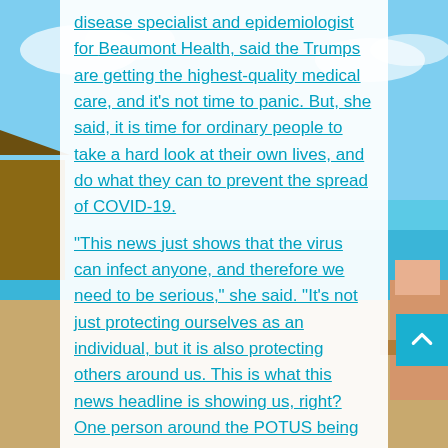[Figure (photo): Background beach/vacation scene with blue sky, water, and a person lounging, partially visible on left and right sides behind a white content card]
disease specialist and epidemiologist for Beaumont Health, said the Trumps are getting the highest-quality medical care, and it's not time to panic. But, she said, it is time for ordinary people to take a hard look at their own lives, and do what they can to prevent the spread of COVID-19.
“This news just shows that the virus can infect anyone, and therefore we need to be serious,” she said. “It’s not just protecting ourselves as an individual, but it is also protecting others around us. This is what this news headline is showing us, right? One person around the POTUS being positive, and then potentially infecting others.